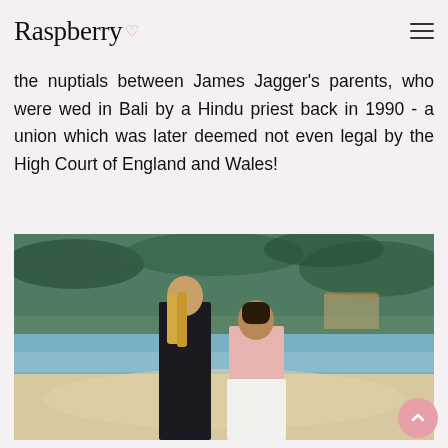Raspberry
the nuptials between James Jagger's parents, who were wed in Bali by a Hindu priest back in 1990 - a union which was later deemed not even legal by the High Court of England and Wales!
[Figure (photo): A couple walking on a beach. A blonde woman in a black mini dress and a man in a pink shirt and white trousers walk together on a sandy beach with palm trees and turquoise water in the background.]